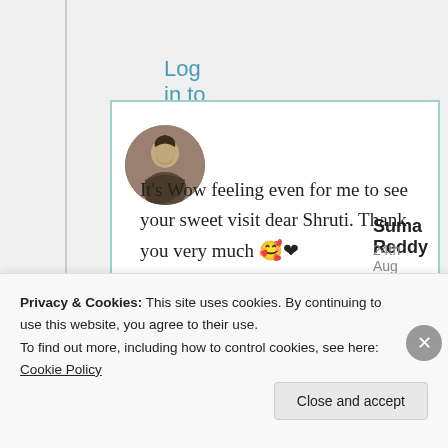Log in to Reply
Suma Reddy
24th Aug 2021 at 9:02 pm
It's Wow feeling even for me to see your sweet visit dear Shruti. Thank you very much 🥰❤
Privacy & Cookies: This site uses cookies. By continuing to use this website, you agree to their use.
To find out more, including how to control cookies, see here: Cookie Policy
Close and accept